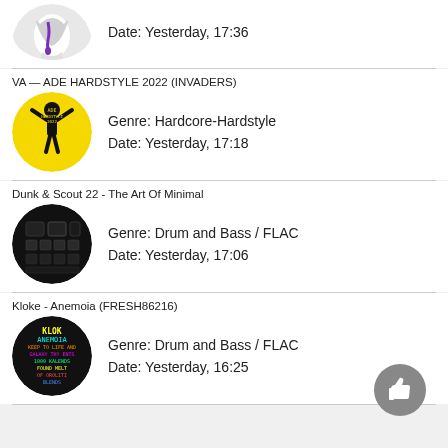Date: Yesterday, 17:36
VA — ADE HARDSTYLE 2022 (INVADERS)
Genre: Hardcore-Hardstyle
Date: Yesterday, 17:18
Dunk & Scout 22 - The Art Of Minimal
Genre: Drum and Bass / FLAC
Date: Yesterday, 17:06
Kloke - Anemoia (FRESH86216)
Genre: Drum and Bass / FLAC
Date: Yesterday, 16:25